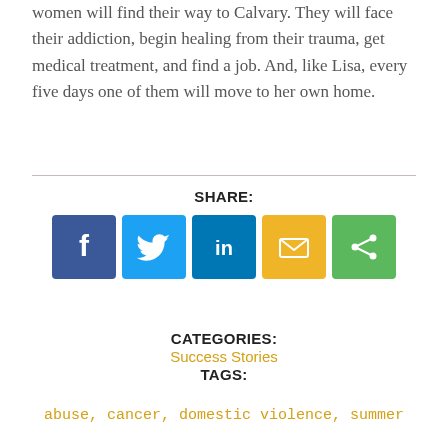women will find their way to Calvary. They will face their addiction, begin healing from their trauma, get medical treatment, and find a job. And, like Lisa, every five days one of them will move to her own home.
[Figure (infographic): Social share buttons: Facebook (blue), Twitter (light blue), LinkedIn (dark blue), Email (yellow/orange), Share (green)]
SHARE:
CATEGORIES:
Success Stories
TAGS:
abuse, cancer, domestic violence, summer